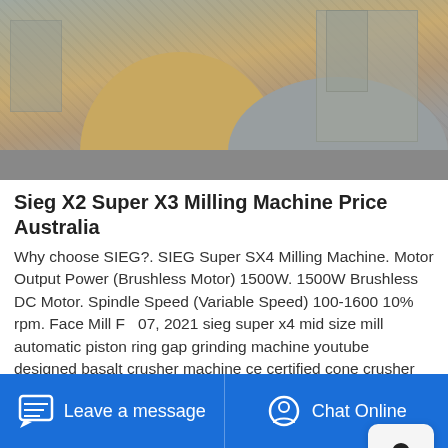[Figure (photo): Outdoor photo of a quarry/construction site with piles of gravel and crushed stone, with machinery visible in the background]
Sieg X2 Super X3 Milling Machine Price Australia
Why choose SIEG?. SIEG Super SX4 Milling Machine. Motor Output Power (Brushless Motor) 1500W. 1500W Brushless DC Motor. Spindle Speed (Variable Speed) 100-1600 10% rpm. Face Mill F 07, 2021 sieg super x4 mid size mill automatic piston ring gap grinding machine youtube designed basalt crusher machine ce certified cone crusher working principle manufacturer Aluminum Oxide Grinding Stone Grit 150 Diameter 200Mm pdf 39 39 s list of kota stone crushers at
Leave a message   Chat Online